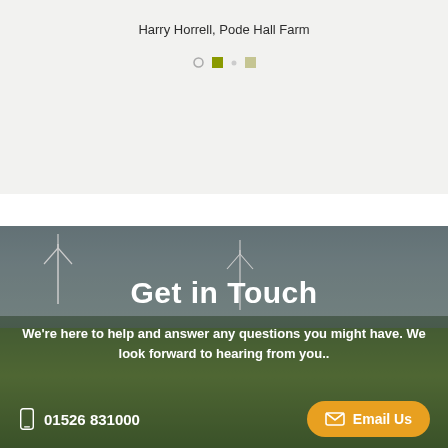Harry Horrell, Pode Hall Farm
[Figure (infographic): Carousel navigation dots: one circle outline, one filled green square (active), one light green/tan square, on a light grey background]
[Figure (photo): Aerial/ground-level rural farm scene with green fields, wind turbines in background and a person walking away from camera. Overlaid text: 'Get in Touch', subtext 'We're here to help and answer any questions you might have. We look forward to hearing from you..', phone number 01526 831000, and an Email Us button.]
Get in Touch
We're here to help and answer any questions you might have. We look forward to hearing from you..
01526 831000
Email Us